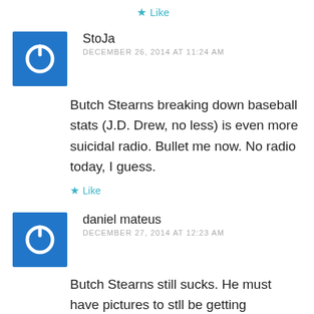★ Like
[Figure (illustration): Blue square avatar with white power button icon]
StoJa
DECEMBER 26, 2014 AT 11:24 AM
Butch Stearns breaking down baseball stats (J.D. Drew, no less) is even more suicidal radio. Bullet me now. No radio today, I guess.
★ Like
[Figure (illustration): Blue square avatar with white power button icon]
daniel mateus
DECEMBER 27, 2014 AT 12:23 AM
Butch Stearns still sucks. He must have pictures to stll be getting